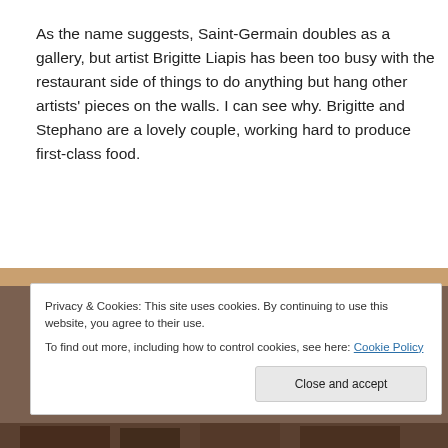As the name suggests, Saint-Germain doubles as a gallery, but artist Brigitte Liapis has been too busy with the restaurant side of things to do anything but hang other artists' pieces on the walls. I can see why. Brigitte and Stephano are a lovely couple, working hard to produce first-class food.
[Figure (photo): Partial photo strip visible behind cookie banner, showing what appears to be a restaurant interior scene]
Privacy & Cookies: This site uses cookies. By continuing to use this website, you agree to their use.
To find out more, including how to control cookies, see here: Cookie Policy
Close and accept